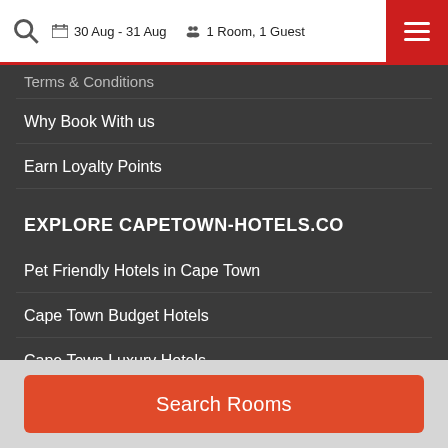30 Aug - 31 Aug  1 Room, 1 Guest
Terms & Conditions
Why Book With us
Earn Loyalty Points
EXPLORE CAPETOWN-HOTELS.CO
Pet Friendly Hotels in Cape Town
Cape Town Budget Hotels
Cape Town Luxury Hotels
Cape Town Cheap Hotels
Cape Town Apartments
Search Rooms